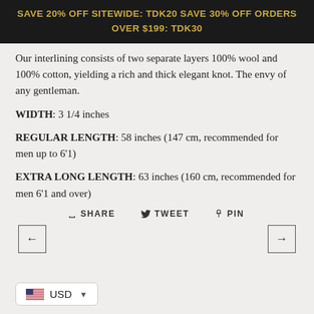SAVE 20% OFF SITEWIDE: TDK20 SAVE 30% OFF ORDERS OVER $199: TDK30
Our interlining consists of two separate layers 100% wool and 100% cotton, yielding a rich and thick elegant knot. The envy of any gentleman.
WIDTH: 3 1/4 inches
REGULAR LENGTH: 58 inches (147 cm, recommended for men up to 6’1)
EXTRA LONG LENGTH: 63 inches (160 cm, recommended for men 6’1 and over)
SHARE   TWEET   PIN
← →
USD